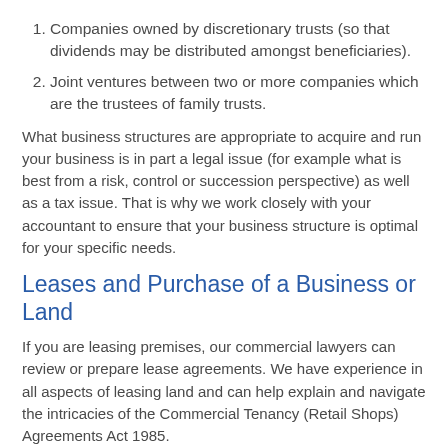Companies owned by discretionary trusts (so that dividends may be distributed amongst beneficiaries).
Joint ventures between two or more companies which are the trustees of family trusts.
What business structures are appropriate to acquire and run your business is in part a legal issue (for example what is best from a risk, control or succession perspective) as well as a tax issue. That is why we work closely with your accountant to ensure that your business structure is optimal for your specific needs.
Leases and Purchase of a Business or Land
If you are leasing premises, our commercial lawyers can review or prepare lease agreements. We have experience in all aspects of leasing land and can help explain and navigate the intricacies of the Commercial Tenancy (Retail Shops) Agreements Act 1985.